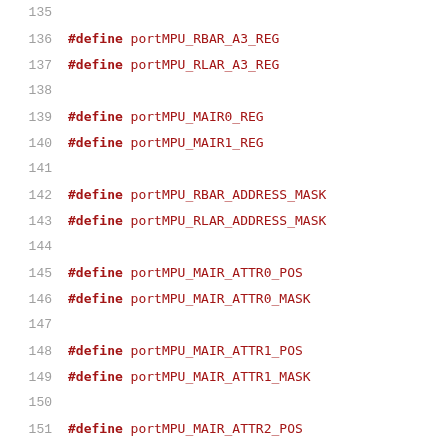135
136    #define portMPU_RBAR_A3_REG
137    #define portMPU_RLAR_A3_REG
138
139    #define portMPU_MAIR0_REG
140    #define portMPU_MAIR1_REG
141
142    #define portMPU_RBAR_ADDRESS_MASK
143    #define portMPU_RLAR_ADDRESS_MASK
144
145    #define portMPU_MAIR_ATTR0_POS
146    #define portMPU_MAIR_ATTR0_MASK
147
148    #define portMPU_MAIR_ATTR1_POS
149    #define portMPU_MAIR_ATTR1_MASK
150
151    #define portMPU_MAIR_ATTR2_POS
152    #define portMPU_MAIR_ATTR2_MASK
153
154    #define portMPU_MAIR_ATTR3_POS
155    #define portMPU_MAIR_ATTR3_MASK
156